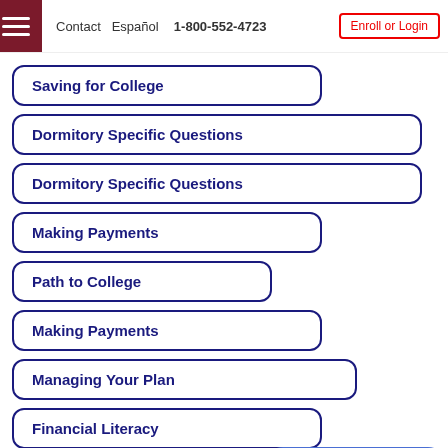Contact  Español  1-800-552-4723  Enroll or Login
Saving for College
Dormitory Specific Questions
Dormitory Specific Questions
Making Payments
Path to College
Making Payments
Managing Your Plan
Financial Literacy